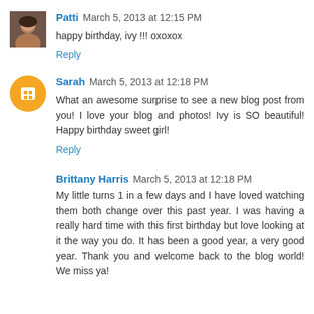Patti March 5, 2013 at 12:15 PM
happy birthday, ivy !!! oxoxox
Reply
Sarah March 5, 2013 at 12:18 PM
What an awesome surprise to see a new blog post from you! I love your blog and photos! Ivy is SO beautiful! Happy birthday sweet girl!
Reply
Brittany Harris March 5, 2013 at 12:18 PM
My little turns 1 in a few days and I have loved watching them both change over this past year. I was having a really hard time with this first birthday but love looking at it the way you do. It has been a good year, a very good year. Thank you and welcome back to the blog world! We miss ya!